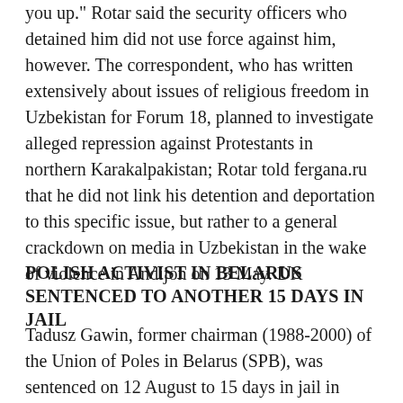you up." Rotar said the security officers who detained him did not use force against him, however. The correspondent, who has written extensively about issues of religious freedom in Uzbekistan for Forum 18, planned to investigate alleged repression against Protestants in northern Karakalpakistan; Rotar told fergana.ru that he did not link his detention and deportation to this specific issue, but rather to a general crackdown on media in Uzbekistan in the wake of violence in Andijon on 13 May. DK
POLISH ACTIVIST IN BELARUS SENTENCED TO ANOTHER 15 DAYS IN JAIL
Tadusz Gawin, former chairman (1988-2000) of the Union of Poles in Belarus (SPB), was sentenced on 12 August to 15 days in jail in addition to the 15-day sentence he is currently serving in a Hrodna jail.